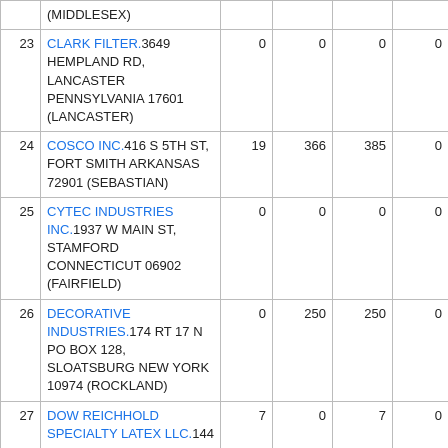| # | Name/Address | Col3 | Col4 | Col5 | Col6 |
| --- | --- | --- | --- | --- | --- |
|  | (MIDDLESEX) |  |  |  |  |
| 23 | CLARK FILTER.3649 HEMPLAND RD, LANCASTER PENNSYLVANIA 17601 (LANCASTER) | 0 | 0 | 0 | 0 |
| 24 | COSCO INC.416 S 5TH ST, FORT SMITH ARKANSAS 72901 (SEBASTIAN) | 19 | 366 | 385 | 0 |
| 25 | CYTEC INDUSTRIES INC.1937 W MAIN ST, STAMFORD CONNECTICUT 06902 (FAIRFIELD) | 0 | 0 | 0 | 0 |
| 26 | DECORATIVE INDUSTRIES.174 RT 17 N PO BOX 128, SLOATSBURG NEW YORK 10974 (ROCKLAND) | 0 | 250 | 250 | 0 |
| 27 | DOW REICHHOLD SPECIALTY LATEX LLC.144 | 7 | 0 | 7 | 0 |